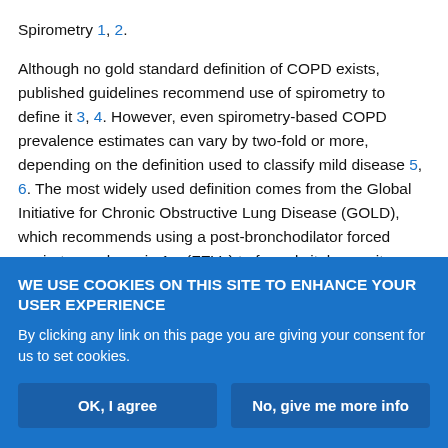Spirometry 1, 2.
Although no gold standard definition of COPD exists, published guidelines recommend use of spirometry to define it 3, 4. However, even spirometry-based COPD prevalence estimates can vary by two-fold or more, depending on the definition used to classify mild disease 5, 6. The most widely used definition comes from the Global Initiative for Chronic Obstructive Lung Disease (GOLD), which recommends using a post-bronchodilator forced expiratory volume in 1 s (FEV1) to forced vital capacity (FVC) ratio <0.7 to define irreversible airflow limitation, and the FEV1 to stage disease 3. This "fixed ratio" approach, while easy to apply, appears to overestimate
WE USE COOKIES ON THIS SITE TO ENHANCE YOUR USER EXPERIENCE
By clicking any link on this page you are giving your consent for us to set cookies.